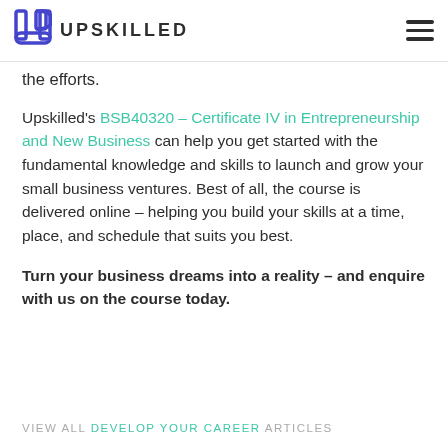UPSKILLED
the efforts.
Upskilled's BSB40320 – Certificate IV in Entrepreneurship and New Business can help you get started with the fundamental knowledge and skills to launch and grow your small business ventures. Best of all, the course is delivered online – helping you build your skills at a time, place, and schedule that suits you best.
Turn your business dreams into a reality – and enquire with us on the course today.
VIEW ALL DEVELOP YOUR CAREER ARTICLES